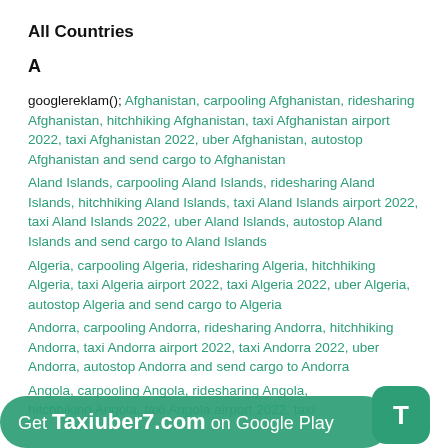All Countries
A
googlereklam(); Afghanistan, carpooling Afghanistan, ridesharing Afghanistan, hitchhiking Afghanistan, taxi Afghanistan airport 2022, taxi Afghanistan 2022, uber Afghanistan, autostop Afghanistan and send cargo to Afghanistan
Aland Islands, carpooling Aland Islands, ridesharing Aland Islands, hitchhiking Aland Islands, taxi Aland Islands airport 2022, taxi Aland Islands 2022, uber Aland Islands, autostop Aland Islands and send cargo to Aland Islands
Algeria, carpooling Algeria, ridesharing Algeria, hitchhiking Algeria, taxi Algeria airport 2022, taxi Algeria 2022, uber Algeria, autostop Algeria and send cargo to Algeria
Andorra, carpooling Andorra, ridesharing Andorra, hitchhiking Andorra, taxi Andorra airport 2022, taxi Andorra 2022, uber Andorra, autostop Andorra and send cargo to Andorra
Angola, carpooling Angola, ridesharing Angola, hitchhiking Angola, taxi Angola airport 2022, taxi...
Get Taxiuber7.com on Google Play